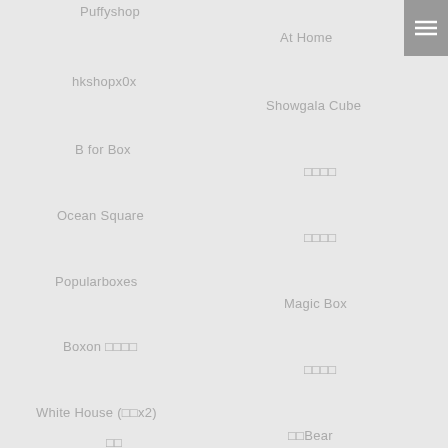Puffyshop
At Home
hkshopx0x
Showgala Cube
B for Box
□□□□
Ocean Square
□□□□
Popularboxes
Magic Box
Boxon □□□□
□□□□
White House (□□x2)
□□Bear
□□